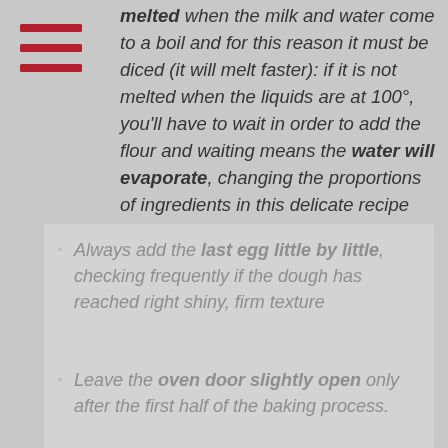[Figure (other): Hamburger menu icon with three red horizontal lines]
melted when the milk and water come to a boil and for this reason it must be diced (it will melt faster): if it is not melted when the liquids are at 100°, you'll have to wait in order to add the flour and waiting means the water will evaporate, changing the proportions of ingredients in this delicate recipe
Always add the last egg little by little, checking frequently if the dough has reached right shiny, firm texture
Leave the oven door slightly open only after the first half of the baking process.
Steam is necessary at least for the first half of the baking process, so don't you dare open the oven door until your pâte à choux has risen enough! Be careful as well to